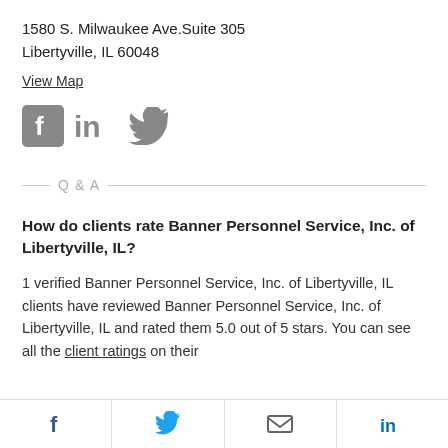1580 S. Milwaukee Ave.Suite 305
Libertyville, IL 60048
View Map
[Figure (logo): Social media icons: Facebook, LinkedIn, Twitter in gray]
Q & A
How do clients rate Banner Personnel Service, Inc. of Libertyville, IL?
1 verified Banner Personnel Service, Inc. of Libertyville, IL clients have reviewed Banner Personnel Service, Inc. of Libertyville, IL and rated them 5.0 out of 5 stars. You can see all the client ratings on their
[Figure (infographic): Bottom toolbar with Facebook, Twitter, email, and LinkedIn share icons]